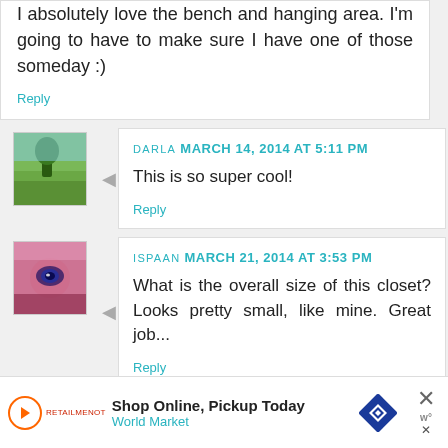I absolutely love the bench and hanging area. I'm going to have to make sure I have one of those someday :)
Reply
[Figure (photo): Small avatar thumbnail showing a green field/landscape with a person]
DARLA MARCH 14, 2014 AT 5:11 PM
This is so super cool!
Reply
[Figure (photo): Small avatar thumbnail showing a close-up of a person's face/eye with pink tones]
ISPAAN MARCH 21, 2014 AT 3:53 PM
What is the overall size of this closet? Looks pretty small, like mine. Great job...
Reply
Shop Online, Pickup Today
World Market